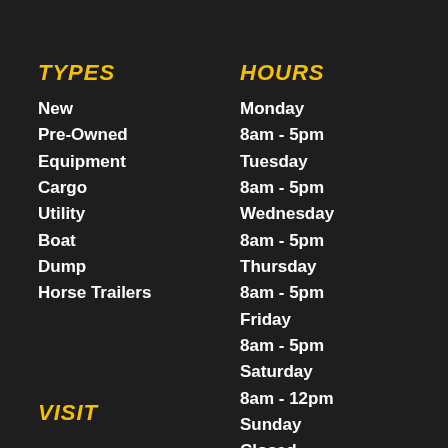TYPES
New
Pre-Owned
Equipment
Cargo
Utility
Boat
Dump
Horse Trailers
HOURS
Monday
8am - 5pm
Tuesday
8am - 5pm
Wednesday
8am - 5pm
Thursday
8am - 5pm
Friday
8am - 5pm
Saturday
8am - 12pm
Sunday
Closed
VISIT